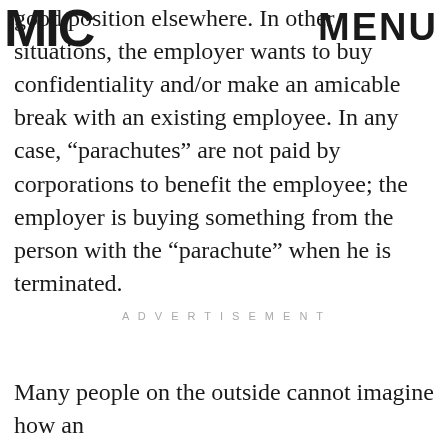MIC / MENU
good position elsewhere. In other situations, the employer wants to buy confidentiality and/or make an amicable break with an existing employee. In any case, “parachutes” are not paid by corporations to benefit the employee; the employer is buying something from the person with the “parachute” when he is terminated.
ADVERTISEMENT
Many people on the outside cannot imagine how an